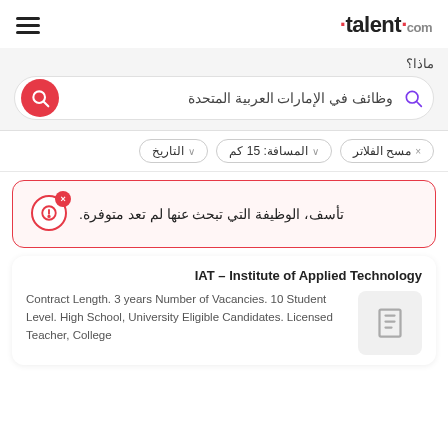talent.com
ماذا؟
وظائف في الإمارات العربية المتحدة
مسح الفلاتر × | المسافة: 15 كم ∨ | التاريخ ∨
تأسف، الوظيفة التي تبحث عنها لم تعد متوفرة.
IAT – Institute of Applied Technology
Contract Length. 3 years Number of Vacancies. 10 Student Level. High School, University Eligible Candidates. Licensed Teacher, College